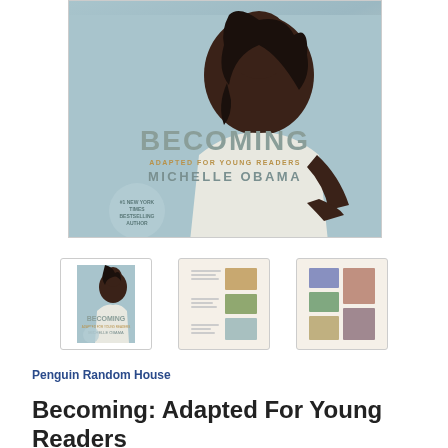[Figure (photo): Book cover of 'Becoming: Adapted for Young Readers' by Michelle Obama. Shows a woman in a white top against a light blue-grey background. Title 'BECOMING' in large grey letters, subtitle 'ADAPTED FOR YOUNG READERS' in gold, author 'MICHELLE OBAMA' in teal/grey letters. A circular badge reads '#1 New York Times Bestselling Author'.]
[Figure (photo): Thumbnail 1: Front cover of Becoming by Michelle Obama showing a smiling woman.]
[Figure (photo): Thumbnail 2: Interior spread of the book showing photos of people/groups.]
[Figure (photo): Thumbnail 3: Another interior spread showing photo collage.]
Penguin Random House
Becoming: Adapted For Young Readers